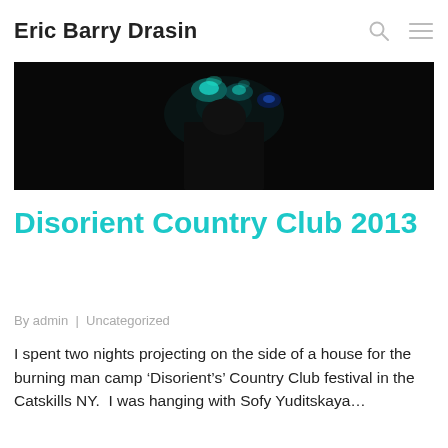Eric Barry Drasin
[Figure (photo): Dark photograph with colorful glowing elements against a black background, partial view of a person or figure with blue and teal/green glowing decorations.]
Disorient Country Club 2013
By admin  |  Uncategorized
I spent two nights projecting on the side of a house for the burning man camp ‘Disorient’s’ Country Club festival in the Catskills NY.  I was hanging with Sofy Yuditskaya…
Read More